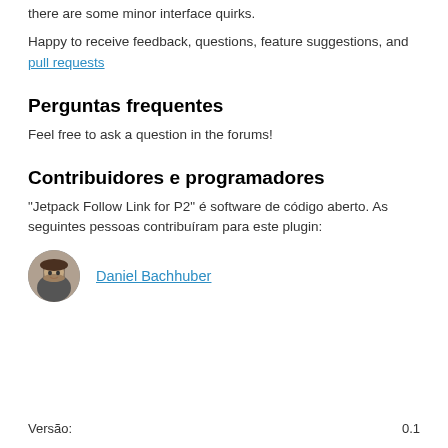there are some minor interface quirks.
Happy to receive feedback, questions, feature suggestions, and pull requests
Perguntas frequentes
Feel free to ask a question in the forums!
Contribuidores e programadores
“Jetpack Follow Link for P2” é software de código aberto. As seguintes pessoas contribuíram para este plugin:
Daniel Bachhuber
Versão:    0.1